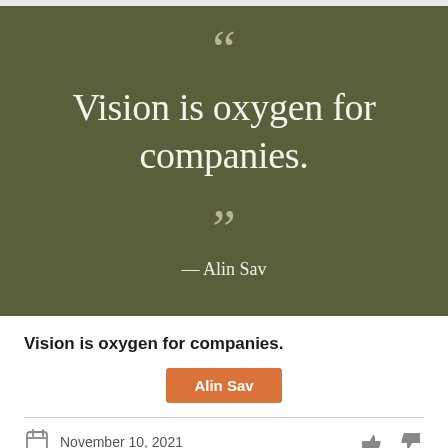[Figure (illustration): Quote card with olive/khaki background showing open quotation marks, large text 'Vision is oxygen for companies.', close quotation marks, and attribution '— Alin Sav']
Vision is oxygen for companies.
Alin Sav
November 10, 2021